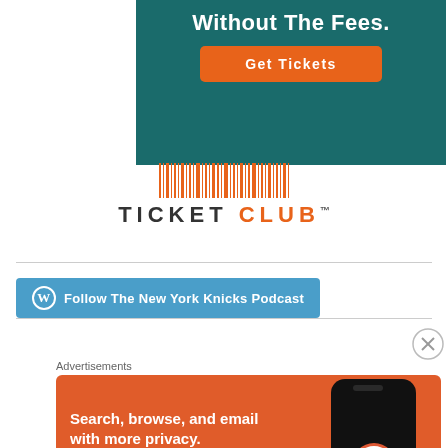[Figure (illustration): Top advertisement banner with teal/dark green background showing 'Without The Fees.' text and orange 'Get Tickets' button]
[Figure (logo): TicketClub logo with orange barcode above and wordmark 'TICKET CLUB' with trademark symbol]
[Figure (illustration): Blue WordPress-style 'Follow The New York Knicks Podcast' button]
Advertisements
[Figure (illustration): DuckDuckGo advertisement with orange background. Text: 'Search, browse, and email with more privacy. All in One Free App'. Shows phone mockup with DuckDuckGo logo.]